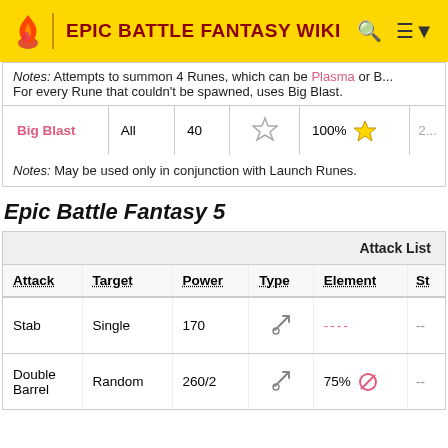EPIC BATTLE FANTASY WIKI
Notes: Attempts to summon 4 Runes, which can be Plasma or B... For every Rune that couldn't be spawned, uses Big Blast.
| Attack | Target | Power | Type | Element | St |
| --- | --- | --- | --- | --- | --- |
| Big Blast | All | 40 | ☆ | 100% ★ | 2... |
Notes: May be used only in conjunction with Launch Runes.
Epic Battle Fantasy 5
| Attack | Target | Power | Type | Element | St |
| --- | --- | --- | --- | --- | --- |
| Stab | Single | 170 | 🚀 | ---- | -- |
| Double Barrel | Random | 260/2 | 🚀 | 75% 🔴 | -- |